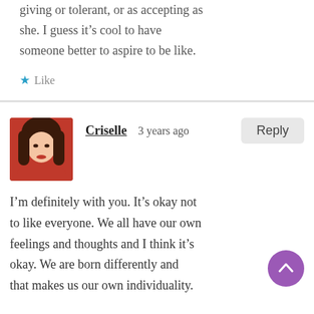giving or tolerant, or as accepting as she. I guess it's cool to have someone better to aspire to be like.
★ Like
Criselle  3 years ago
I'm definitely with you. It's okay not to like everyone. We all have our own feelings and thoughts and I think it's okay. We are born differently and that makes us our own individuality.